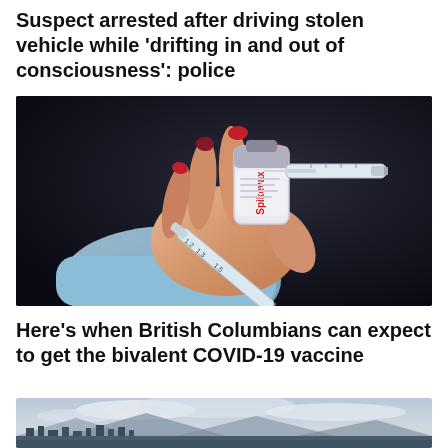Suspect arrested after driving stolen vehicle while 'drifting in and out of consciousness': police
[Figure (photo): Close-up of a hand with red-painted nails holding a vaccine vial labeled 'Spikevax' and a syringe, against a dark background. The person is wearing a light blue sleeve.]
Here's when British Columbians can expect to get the bivalent COVID-19 vaccine
[Figure (photo): Aerial/wide panoramic view of a city skyline with mountains in the background and cloudy sky, likely Vancouver, British Columbia.]